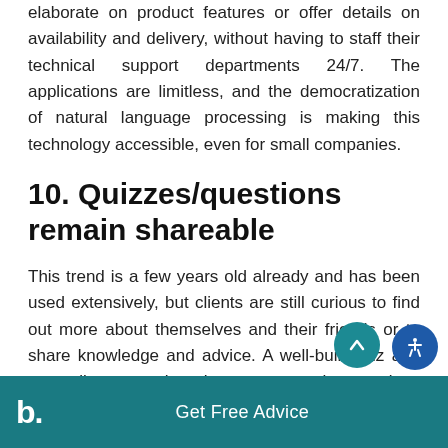elaborate on product features or offer details on availability and delivery, without having to staff their technical support departments 24/7. The applications are limitless, and the democratization of natural language processing is making this technology accessible, even for small companies.
10. Quizzes/questions remain shareable
This trend is a few years old already and has been used extensively, but clients are still curious to find out more about themselves and their friends or to share knowledge and advice. A well-built quiz app can collect more than the answers to the questions in the test. Some developers are asking
b. Get Free Advice